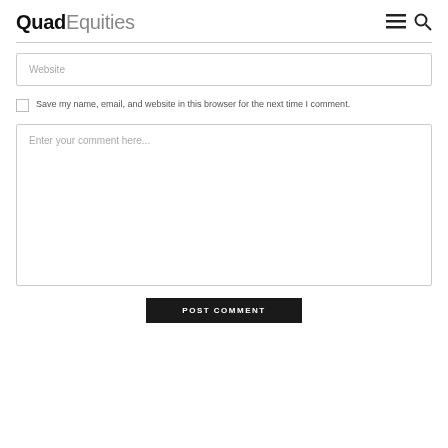QuadEquities
Website
Save my name, email, and website in this browser for the next time I comment.
Enter your comment here...
POST COMMENT